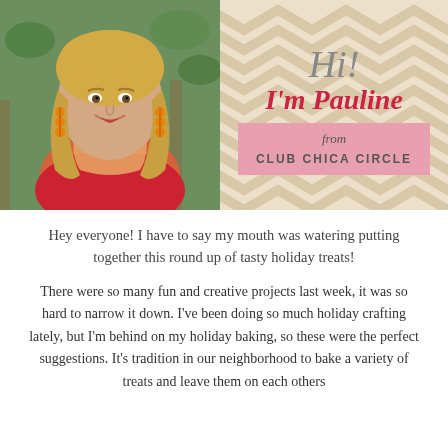[Figure (photo): Smiling blonde woman with orange earrings and colorful scarf, wearing a red top, photographed outdoors]
[Figure (infographic): Chevron patterned background with text: Hi! I'm Pauline from CLUB CHICA CIRCLE]
Hey everyone! I have to say my mouth was watering putting together this round up of tasty holiday treats!
There were so many fun and creative projects last week, it was so hard to narrow it down. I've been doing so much holiday crafting lately, but I'm behind on my holiday baking, so these were the perfect suggestions. It's tradition in our neighborhood to bake a variety of treats and leave them on each others